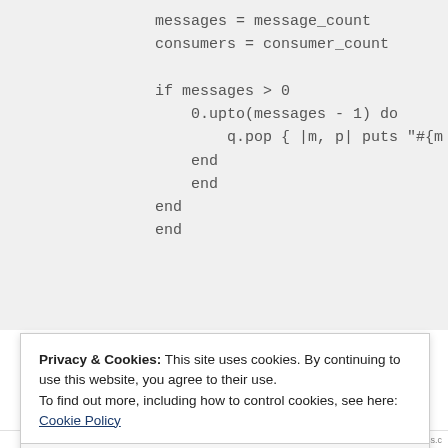[Figure (screenshot): Code snippet showing Ruby code with messages = message_count, consumers = consumer_count, if messages > 0, 0.upto(messages - 1) do, q.pop { |m, p| puts "#{m, end, end, end, end]
Privacy & Cookies: This site uses cookies. By continuing to use this website, you agree to their use.
To find out more, including how to control cookies, see here: Cookie Policy
Close and accept